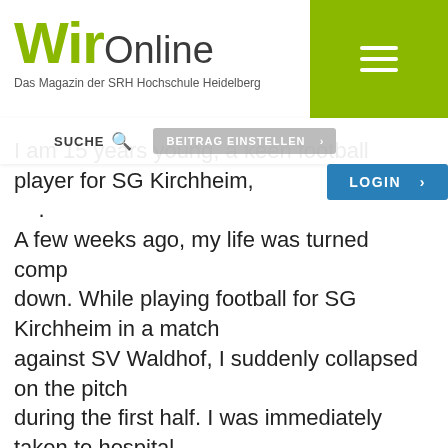WirOnline – Das Magazin der SRH Hochschule Heidelberg
I am 15 years young, a keen football player for SG Kirchheim, g. A few weeks ago, my life was turned completely upside down. While playing football for SG Kirchheim in a match against SV Waldhof, I suddenly collapsed on the pitch during the first half. I was immediately taken to hospital, only to be given the devastating diagnosis of leukaemia. In an instant, my life and plans were completely turned upside down. It soon became clear that I had no chance of recovery without a suitable stem cell donor. But my treatment is fraught with obstacles: I have a very rare blood count and my exact origin is unknown because I was adopted shortly after birth. I grew up in a loving